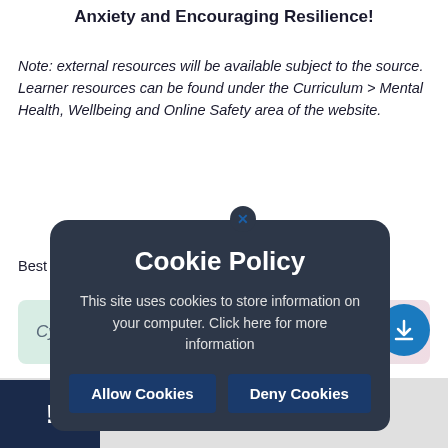Anxiety and Encouraging Resilience!
Note: external resources will be available subject to the source. Learner resources can be found under the Curriculum > Mental Health, Wellbeing and Online Safety area of the website.
Best wishes and take care.
[Figure (screenshot): Cookie Policy modal overlay on a dark rounded background, with 'Allow Cookies' and 'Deny Cookies' buttons, displayed over a webpage showing 'Cycle Scheme' card]
Cycle Scheme